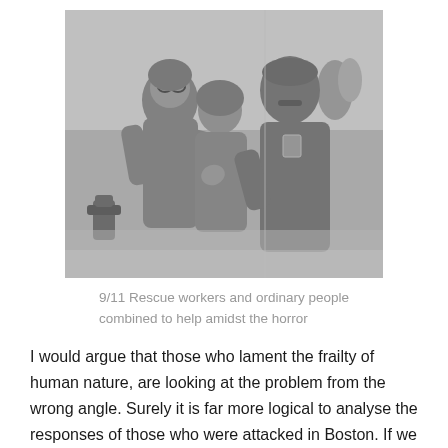[Figure (photo): Black and white photograph showing rescue workers and ordinary people helping each other during the 9/11 attacks. A firefighter or rescue worker supports two distressed people covered in dust and debris. A fire hydrant is visible in the left background.]
9/11 Rescue workers and ordinary people combined to help amidst the horror
I would argue that those who lament the frailty of human nature, are looking at the problem from the wrong angle. Surely it is far more logical to analyse the responses of those who were attacked in Boston. If we allow ourselves to take a step back, far enough to see past our cognitive